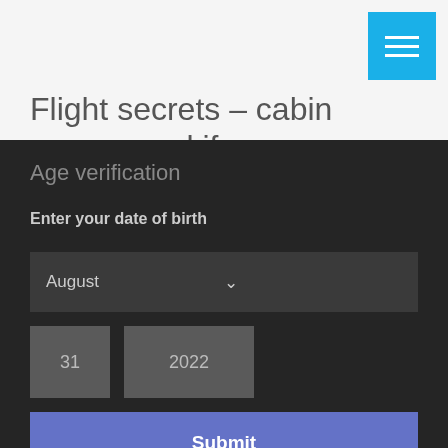Flight secrets – cabin crew reveal if passengers should
Age verification
Enter your date of birth
August
31
2022
Submit